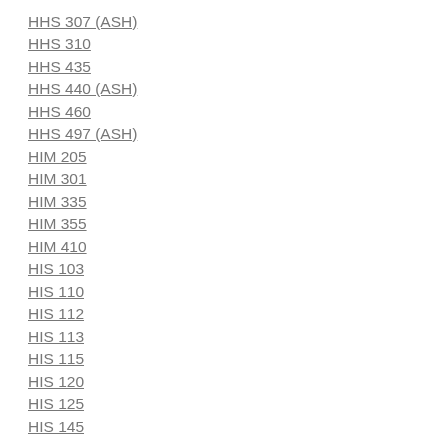HHS 307 (ASH)
HHS 310
HHS 435
HHS 440 (ASH)
HHS 460
HHS 497 (ASH)
HIM 205
HIM 301
HIM 335
HIM 355
HIM 410
HIS 103
HIS 110
HIS 112
HIS 113
HIS 115
HIS 120
HIS 125
HIS 145